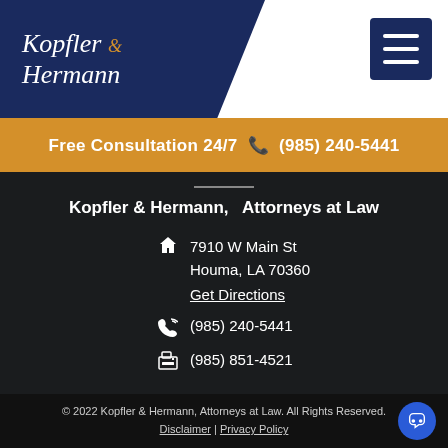[Figure (logo): Kopfler & Hermann law firm logo on dark navy background with italic serif text]
Free Consultation 24/7  ☎  (985) 240-5441
Kopfler & Hermann,   Attorneys at Law
7910 W Main St
Houma, LA 70360
Get Directions
(985) 240-5441
(985) 851-4521
© 2022 Kopfler & Hermann, Attorneys at Law. All Rights Reserved.
Disclaimer | Privacy Policy